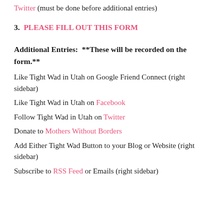Like New Jammies on Facebook and/or Twitter (must be done before additional entries)
3. PLEASE FILL OUT THIS FORM
Additional Entries: **These will be recorded on the form.**
Like Tight Wad in Utah on Google Friend Connect (right sidebar)
Like Tight Wad in Utah on Facebook
Follow Tight Wad in Utah on Twitter
Donate to Mothers Without Borders
Add Either Tight Wad Button to your Blog or Website (right sidebar)
Subscribe to RSS Feed or Emails (right sidebar)